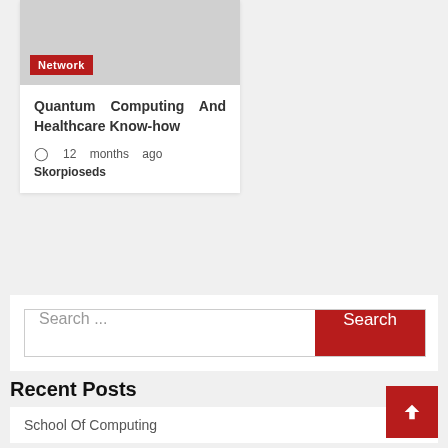[Figure (screenshot): Gray placeholder image for article card with red Network badge]
Quantum Computing And Healthcare Know-how
12 months ago
Skorpioseds
Search ...
Recent Posts
School Of Computing